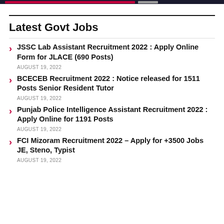Latest Govt Jobs
JSSC Lab Assistant Recruitment 2022 : Apply Online Form for JLACE (690 Posts)
AUGUST 19, 2022
BCECEB Recruitment 2022 : Notice released for 1511 Posts Senior Resident Tutor
AUGUST 19, 2022
Punjab Police Intelligence Assistant Recruitment 2022 : Apply Online for 1191 Posts
AUGUST 19, 2022
FCI Mizoram Recruitment 2022 – Apply for +3500 Jobs JE, Steno, Typist
AUGUST 19, 2022